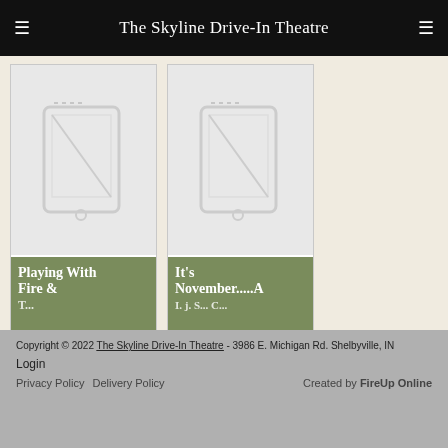The Skyline Drive-In Theatre
[Figure (screenshot): Two movie poster cards with sage green labels. First card: 'Playing With Fire &' (text cut off). Second card: 'It's November.....A' (text cut off). Both cards show a tablet/book placeholder image above.]
Leave Us A Review  ★★★★★  May 6, 2018 by Jean on The Skyline Drive-In Theatre
“ My family, friends, and boyfriend have been here and enjoyed ourselves too many times to count.
See Recent Reviews
Copyright © 2022 The Skyline Drive-In Theatre - 3986 E. Michigan Rd. Shelbyville, IN
Login
Privacy Policy   Delivery Policy   Created by FireUp Online